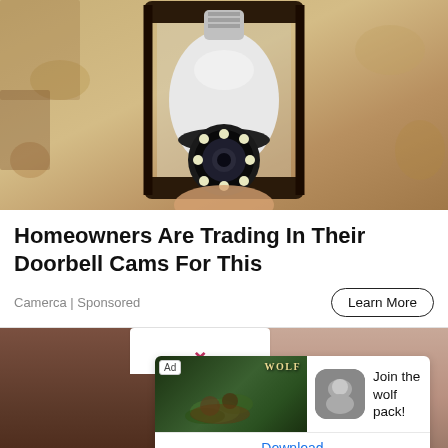[Figure (photo): A security camera disguised as a light bulb installed in an outdoor wall lamp fixture. The camera has a circular lens with LED lights around it, mounted in a black metal lantern frame on a textured stucco wall.]
Homeowners Are Trading In Their Doorbell Cams For This
Camerca | Sponsored
Learn More
[Figure (screenshot): A nested advertisement card showing a wolf-themed app or game. Contains an 'Ad' badge, an image of wolves in a forest with the word 'WOLF', a wolf app icon, text 'Join the wolf pack!', and a 'Download' button link.]